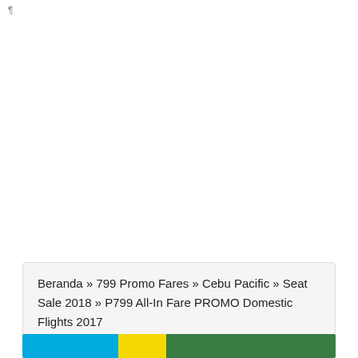¶
Beranda » 799 Promo Fares » Cebu Pacific » Seat Sale 2018 » P799 All-In Fare PROMO Domestic Flights 2017
[Figure (photo): Bottom banner strip with blue, yellow, and green sections, likely a Cebu Pacific promotional image partially visible]